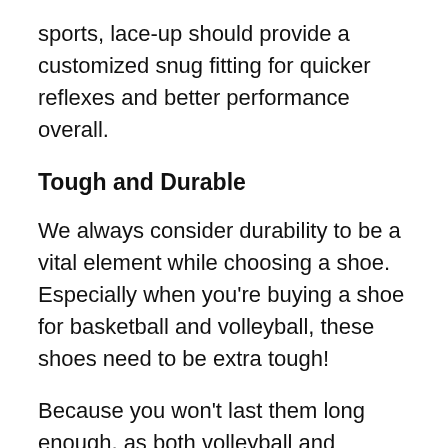sports, lace-up should provide a customized snug fitting for quicker reflexes and better performance overall.
Tough and Durable
We always consider durability to be a vital element while choosing a shoe. Especially when you're buying a shoe for basketball and volleyball, these shoes need to be extra tough!
Because you won't last them long enough, as both volleyball and basketball put intense pressure on the shoe, the best idea is to spend a few more bucks to get a sturdy premium shoe instead of buying a new one every two months.